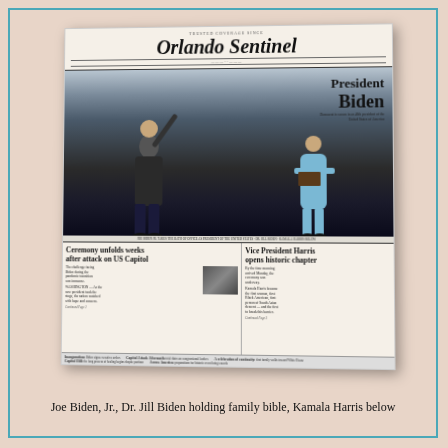[Figure (photo): A photograph of the Orlando Sentinel newspaper front page, showing Joe Biden raising his hand during inauguration with Dr. Jill Biden beside him holding a family bible. The headline reads 'President Biden'. Below the main photo are two stories: 'Ceremony unfolds weeks after attack on US Capitol' and 'Vice President Harris opens historic chapter'. The newspaper is photographed on a pink surface.]
Joe Biden, Jr., Dr. Jill Biden holding family bible, Kamala Harris below